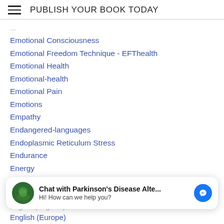PUBLISH YOUR BOOK TODAY
Emotional Consciousness
Emotional Freedom Technique - EFThealth
Emotional Health
Emotional-health
Emotional Pain
Emotions
Empathy
Endangered-languages
Endoplasmic Reticulum Stress
Endurance
Energy
Energy Medicine
Enesa-mahmi263
[Figure (other): Chat widget: Chat with Parkinson's Disease Alte... Hi! How can we help you?]
English (England)
English (Europe)